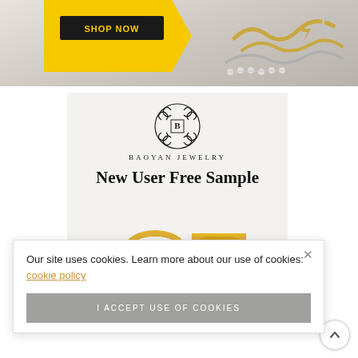[Figure (screenshot): Top banner showing jewelry chains on marble background with a 'SHOP NOW' button and yellow chevron graphic]
[Figure (logo): Baoyan Jewelry ornate logo with letter B in center surrounded by scroll decoration]
BAOYAN JEWELRY
New User Free Sample
[Figure (photo): Gold ring products partially visible]
Our site uses cookies. Learn more about our use of cookies: cookie policy
I ACCEPT USE OF COOKIES